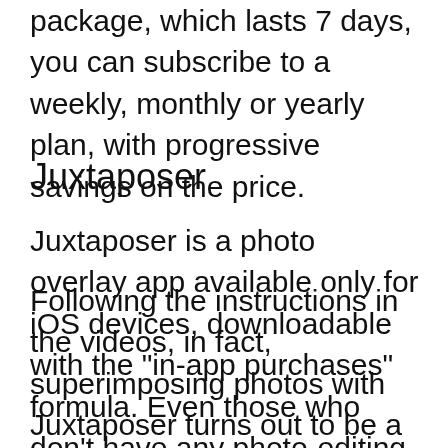package, which lasts 7 days, you can subscribe to a weekly, monthly or yearly plan, with progressive savings on the price.
Juxtaposer
Juxtaposer is a photo overlay app available only for iOS devices, downloadable with the "in-app purchases" formula. Even those who don't have any photo-editing skills can create beautifully crafted photomontages, thanks to the short video tutorials inside the app.
Following the instructions in the videos, in fact, superimposing photos with Juxtaposer turns out to be a very simple task, despite the various features and many editing tools